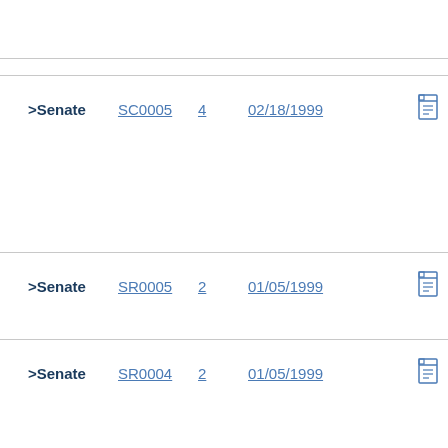| Chamber | ID | Num | Date | Icon | Name |
| --- | --- | --- | --- | --- | --- |
| >Senate | SC0005 | 4 | 02/18/1999 | [doc] | Moe, |
| >Senate | SR0005 | 2 | 01/05/1999 | [doc] | Moe, |
| >Senate | SR0004 | 2 | 01/05/1999 | [doc] | Moe, |